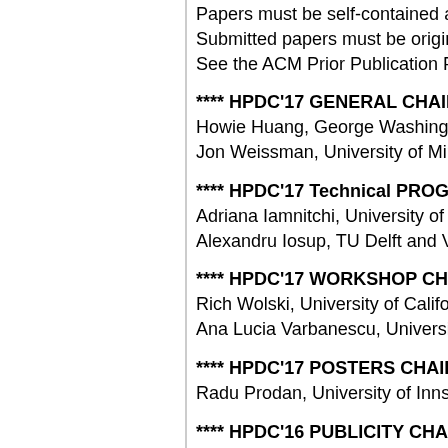Papers must be self-contained and provide... Submitted papers must be original work tha... See the ACM Prior Publication Policy for mo...
**** HPDC'17 GENERAL CHAIR ****
Howie Huang, George Washington Universi... Jon Weissman, University of Minnesota, US...
**** HPDC'17 Technical PROGRAM CO-CH...
Adriana Iamnitchi, University of South Florid... Alexandru Iosup, TU Delft and Vrije Univers...
**** HPDC'17 WORKSHOP CHAIRS ****
Rich Wolski, University of California at Sant... Ana Lucia Varbanescu, University of Amste...
**** HPDC'17 POSTERS CHAIR ****
Radu Prodan, University of Innsbruck, Aust...
**** HPDC'16 PUBLICITY CHAIRS ****
Shuaiwen Leon Song, Pacific Northwest Na... Torsten Hoefler, Eidgenössische Technische... Kenjiro Taura, The University of Tokyo, Japa...
**** HPDC'17 SPONSORSHIP CHAIR ****
Dean Hildebrand, IBM Almaden Research C...
**** HPDC'17 TRAVEL GRANT CHAIR****
Patrick Bridges, University of New Mexico...